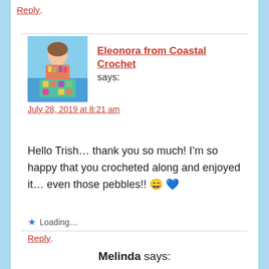Reply
Eleonora from Coastal Crochet says:
July 28, 2019 at 8:21 am
Hello Trish... thank you so much! I’m so happy that you crocheted along and enjoyed it... even those pebbles!! 😄 💙
Loading...
Reply
Melinda says: